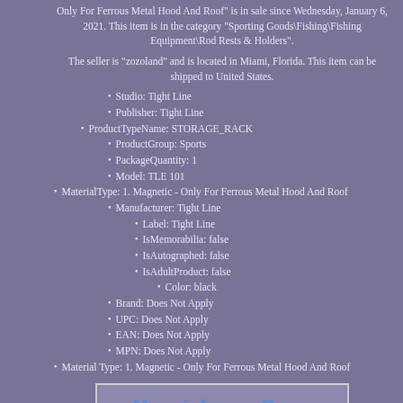Only For Ferrous Metal Hood And Roof" is in sale since Wednesday, January 6, 2021. This item is in the category "Sporting Goods\Fishing\Fishing Equipment\Rod Rests & Holders".
The seller is "zozoland" and is located in Miami, Florida. This item can be shipped to United States.
Studio: Tight Line
Publisher: Tight Line
ProductTypeName: STORAGE_RACK
ProductGroup: Sports
PackageQuantity: 1
Model: TLE 101
MaterialType: 1. Magnetic - Only For Ferrous Metal Hood And Roof
Manufacturer: Tight Line
Label: Tight Line
IsMemorabilia: false
IsAutographed: false
IsAdultProduct: false
Color: black
Brand: Does Not Apply
UPC: Does Not Apply
EAN: Does Not Apply
MPN: Does Not Apply
Material Type: 1. Magnetic - Only For Ferrous Metal Hood And Roof
[Figure (other): More info on eBay... button link]